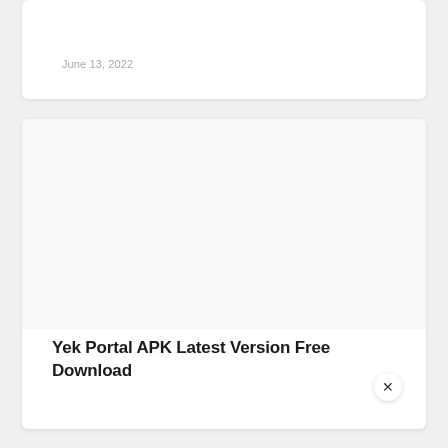June 13, 2022
Yek Portal APK Latest Version Free Download